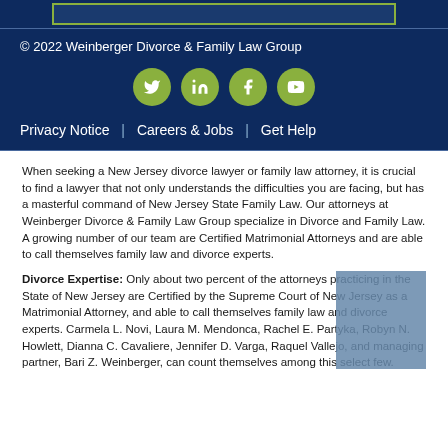© 2022 Weinberger Divorce & Family Law Group
[Figure (illustration): Social media icons: Twitter, LinkedIn, Facebook, YouTube — circular green buttons]
Privacy Notice | Careers & Jobs | Get Help
When seeking a New Jersey divorce lawyer or family law attorney, it is crucial to find a lawyer that not only understands the difficulties you are facing, but has a masterful command of New Jersey State Family Law. Our attorneys at Weinberger Divorce & Family Law Group specialize in Divorce and Family Law. A growing number of our team are Certified Matrimonial Attorneys and are able to call themselves family law and divorce experts.
Divorce Expertise: Only about two percent of the attorneys practicing in the State of New Jersey are Certified by the Supreme Court of New Jersey as a Matrimonial Attorney, and able to call themselves family law and divorce experts. Carmela L. Novi, Laura M. Mendonca, Rachel E. Partyka, Robyn N. Howlett, Dianna C. Cavaliere, Jennifer D. Varga, Raquel Vallejo, and managing partner, Bari Z. Weinberger, can count themselves among this select few.